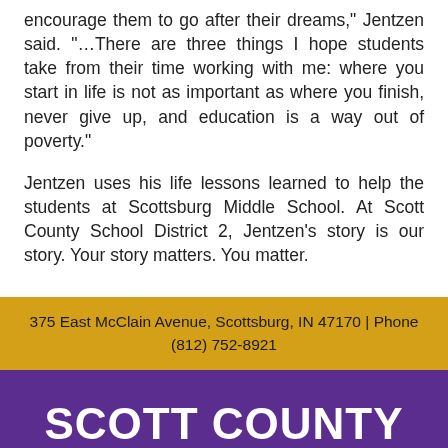encourage them to go after their dreams,” Jentzen said. “…There are three things I hope students take from their time working with me: where you start in life is not as important as where you finish, never give up, and education is a way out of poverty.”
Jentzen uses his life lessons learned to help the students at Scottsburg Middle School. At Scott County School District 2, Jentzen’s story is our story. Your story matters. You matter.
375 East McClain Avenue, Scottsburg, IN 47170 | Phone (812) 752-8921
SCOTT COUNTY